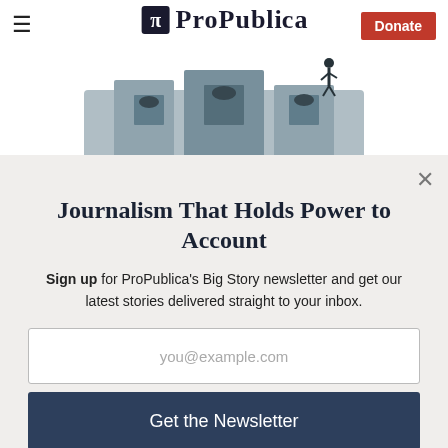[Figure (logo): ProPublica logo with icon and text, hamburger menu on left, Donate button on right, illustration of person on machinery in background]
Journalism That Holds Power to Account
Sign up for ProPublica's Big Story newsletter and get our latest stories delivered straight to your inbox.
you@example.com
Get the Newsletter
No thanks, I'm all set
This site is protected by reCAPTCHA and the Google Privacy Policy and Terms of Service apply.